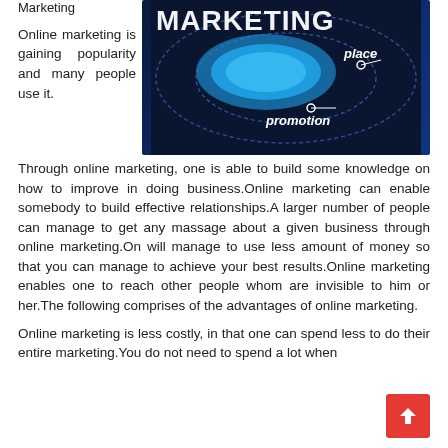Marketing
[Figure (photo): Dark blue background with marketing diagram showing 'MARKETING' text prominently with 'place' and 'promotion' labels and circular/elliptical design elements]
Online marketing is gaining popularity and many people use it.Through online marketing, one is able to build some knowledge on how to improve in doing business.Online marketing can enable somebody to build effective relationships.A larger number of people can manage to get any massage about a given business through online marketing.On will manage to use less amount of money so that you can manage to achieve your best results.Online marketing enables one to reach other people whom are invisible to him or her.The following comprises of the advantages of online marketing.
Online marketing is less costly, in that one can spend less to do their entire marketing.You do not need to spend a lot when